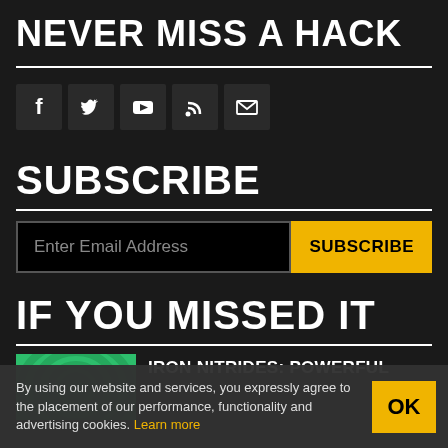NEVER MISS A HACK
[Figure (illustration): Social media icons: Facebook, Twitter, YouTube, RSS, Email in dark square boxes]
SUBSCRIBE
Enter Email Address  SUBSCRIBE
IF YOU MISSED IT
[Figure (photo): Green swirling pattern thumbnail image]
IRON NITRIDES: POWERFUL
By using our website and services, you expressly agree to the placement of our performance, functionality and advertising cookies. Learn more  OK